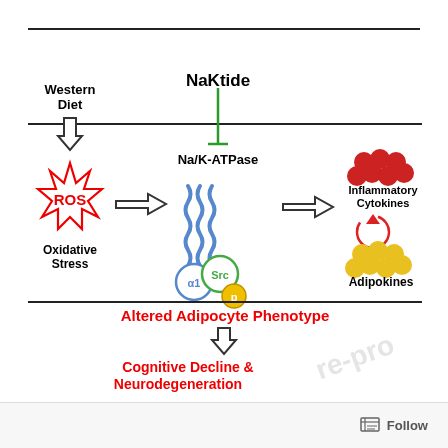[Figure (flowchart): Biological pathway diagram showing Western Diet causing ROS/Oxidative Stress, NaKtide inhibiting Na/K-ATPase signaling complex (alpha1/Src/P), leading to Inflammatory Cytokines and Adipokines, resulting in Altered Adipocyte Phenotype, then Cognitive Decline & Neurodegeneration.]
Follow